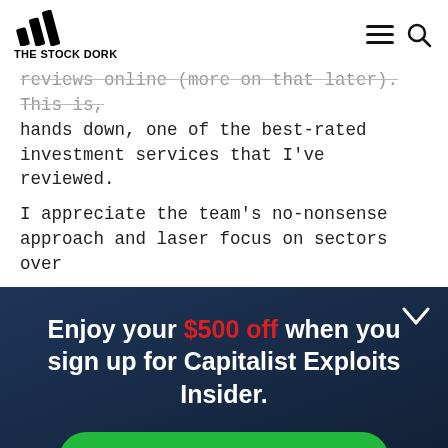THE STOCK DORK
reviews online (more on that later). This is, hands down, one of the best-rated investment services that I've reviewed.
I appreciate the team's no-nonsense approach and laser focus on sectors over
Enjoy your $500 off when you sign up for Capitalist Exploits Insider.
CLAIM MY DISCOUNT →